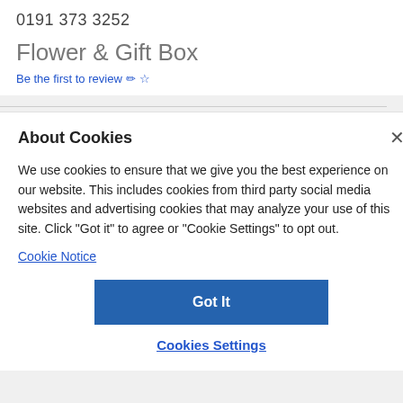0191 373 3252
Flower & Gift Box
Be the first to review ✏️☆
About Cookies
We use cookies to ensure that we give you the best experience on our website. This includes cookies from third party social media websites and advertising cookies that may analyze your use of this site. Click "Got it" to agree or "Cookie Settings" to opt out.
Cookie Notice
Got It
Cookies Settings